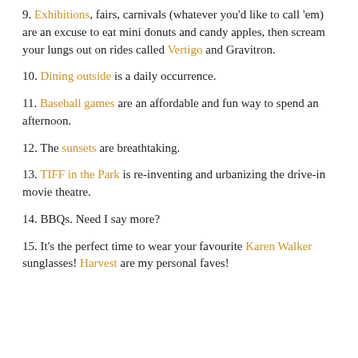9. Exhibitions, fairs, carnivals (whatever you'd like to call 'em) are an excuse to eat mini donuts and candy apples, then scream your lungs out on rides called Vertigo and Gravitron.
10. Dining outside is a daily occurrence.
11. Baseball games are an affordable and fun way to spend an afternoon.
12. The sunsets are breathtaking.
13. TIFF in the Park is re-inventing and urbanizing the drive-in movie theatre.
14. BBQs. Need I say more?
15. It's the perfect time to wear your favourite Karen Walker sunglasses! Harvest are my personal faves!